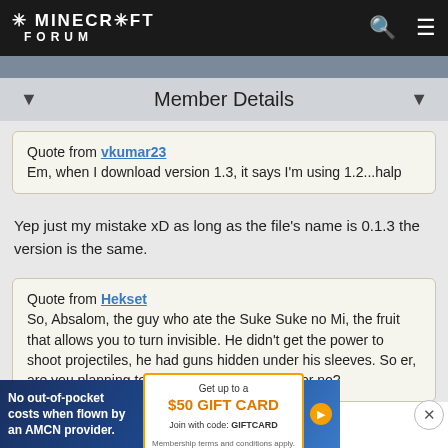MINECRAFT FORUM
Member Details
Quote from vkumar23
Em, when I download version 1.3, it says I'm using 1.2...halp
Yep just my mistake xD as long as the file's name is 0.1.3 the version is the same.
Quote from Hekset
So, Absalom, the guy who ate the Suke Suke no Mi, the fruit that allows you to turn invisible. He didn't get the power to shoot projectiles, he had guns hidden under his sleeves. So er, are you planning to keep that for that power or no?
[Figure (infographic): Advertisement banner: No out-of-pocket costs when flown by an AMCN provider. Get up to a $50 GIFT CARD Join with code: GIFTCARD. Membership terms and conditions apply.]